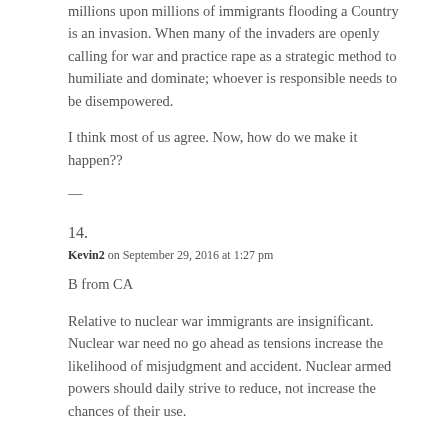millions upon millions of immigrants flooding a Country is an invasion. When many of the invaders are openly calling for war and practice rape as a strategic method to humiliate and dominate; whoever is responsible needs to be disempowered.
I think most of us agree. Now, how do we make it happen??
—
14.
Kevin2 on September 29, 2016 at 1:27 pm
B from CA
Relative to nuclear war immigrants are insignificant. Nuclear war need no go ahead as tensions increase the likelihood of misjudgment and accident. Nuclear armed powers should daily strive to reduce, not increase the chances of their use.